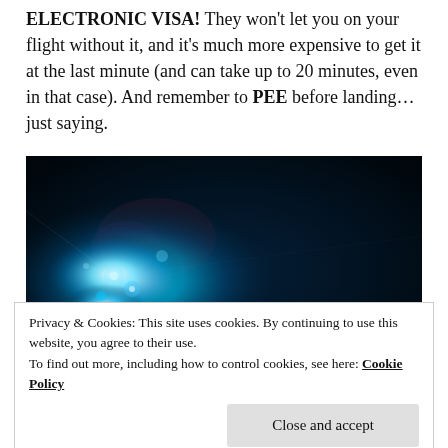ELECTRONIC VISA! They won't let you on your flight without it, and it's much more expensive to get it at the last minute (and can take up to 20 minutes, even in that case). And remember to PEE before landing… just saying.
[Figure (photo): Dark photograph with bright cyan/white light flare or bokeh effect against a very dark navy/black background]
Privacy & Cookies: This site uses cookies. By continuing to use this website, you agree to their use.
To find out more, including how to control cookies, see here: Cookie Policy
[Figure (photo): Partial view of another photo at the bottom of the page, dark blue tones]